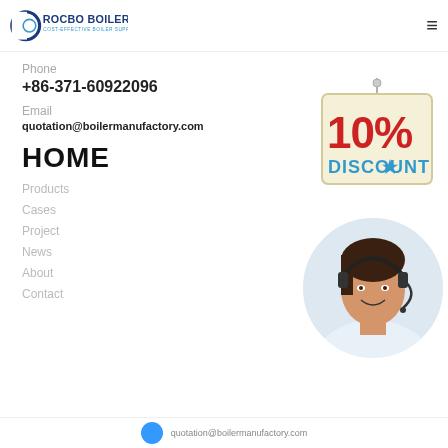[Figure (logo): Rocbo Boiler logo with crescent C and company name]
Phone
+86-371-60922096
Email
quotation@boilermanufactory.com
HOME
Products
Cases
Project
News
About
Contact
[Figure (illustration): 10% DISCOUNT hanging sign badge]
[Figure (photo): Customer service agent woman with headset smiling, circular cropped photo]
quotation@boilermanufactory.com